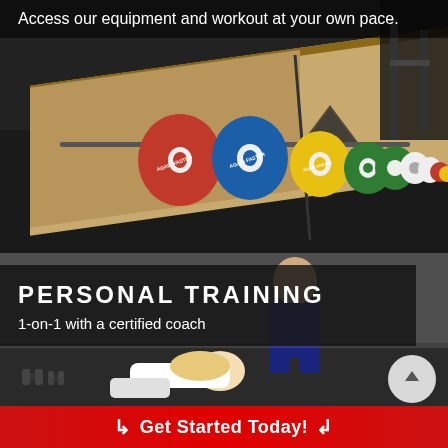[Figure (photo): Gym equipment photo showing a weightlifting platform with colorful bumper plates (red, blue, yellow, green, white) and a barbell, on a rubber mat floor with a triangular logo on the wooden platform surface.]
Access our equipment and workout at your own pace.
[Figure (photo): Personal training session photo showing a trainer helping a person on the floor in a gym setting, with dumbbells visible on the left.]
PERSONAL TRAINING
1-on-1 with a certified coach
↳ Get Started Today! ↲